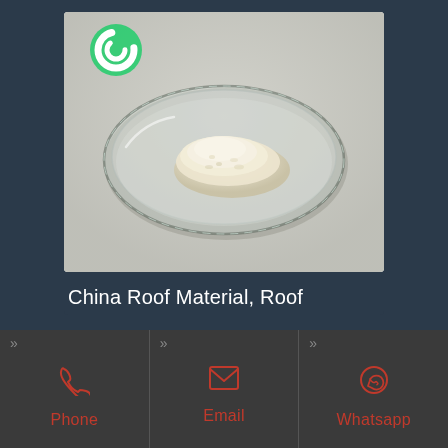[Figure (photo): Product photo showing a glass petri dish containing a small pile of white/cream colored powder, on a light gray background. A green circular logo is visible in the upper left corner of the photo.]
China Roof Material, Roof
[Figure (infographic): Contact bar with three sections: Phone (phone icon), Email (envelope icon), Whatsapp (whatsapp icon), each with double-chevron and red/pink colored labels on dark gray background.]